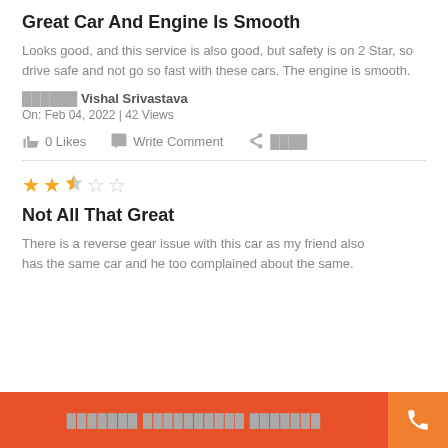Great Car And Engine Is Smooth
Looks good, and this service is also good, but safety is on 2 Star, so drive safe and not go so fast with these cars. The engine is smooth.
?????? Vishal Srivastava
On: Feb 04, 2022 | 42 Views
0 Likes   Write Comment   ????
[Figure (other): Horizontal divider line]
[Figure (other): 2.5 star rating: 2 filled stars, 1 half star, 2 empty stars]
Not All That Great
There is a reverse gear issue with this car as my friend also has the same car and he too complained about the same.
?????? ?????????? ?????? (bottom button)